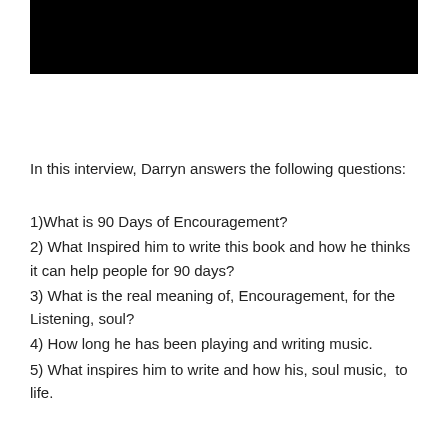[Figure (photo): Black rectangle image at the top of the page]
In this interview, Darryn answers the following questions:
1)What is 90 Days of Encouragement?
2) What Inspired him to write this book and how he thinks it can help people for 90 days?
3) What is the real meaning of, Encouragement, for the Listening, soul?
4) How long he has been playing and writing music.
5) What inspires him to write and how his, soul music,  to life.